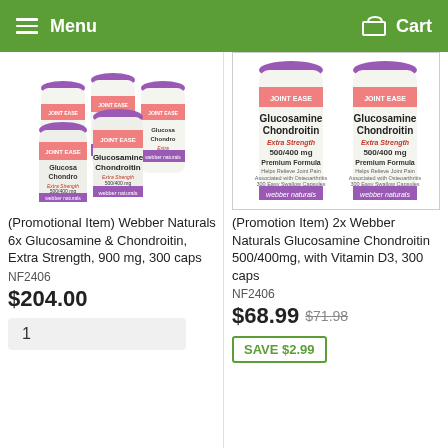Menu   Cart
[Figure (photo): 6 bottles of Webber Naturals Glucosamine Chondroitin Extra Strength 500/400mg stacked together]
(Promotional Item) Webber Naturals 6x Glucosamine & Chondroitin, Extra Strength, 900 mg, 300 caps
NF2406
$204.00
1
[Figure (photo): 2 bottles of Webber Naturals Glucosamine Chondroitin 500/400mg, Extra Strength with Vitamin D]
(Promotion Item) 2x Webber Naturals Glucosamine Chondroitin 500/400mg, with Vitamin D3, 300 caps
NF2406
$68.99  $71.98
SAVE $2.99